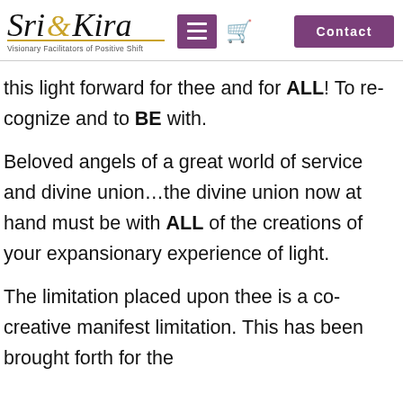Sri & Kira — Visionary Facilitators of Positive Shift | Contact
this light forward for thee and for ALL! To re-cognize and to BE with.
Beloved angels of a great world of service and divine union…the divine union now at hand must be with ALL of the creations of your expansionary experience of light.
The limitation placed upon thee is a co-creative manifest limitation. This has been brought forth for the...